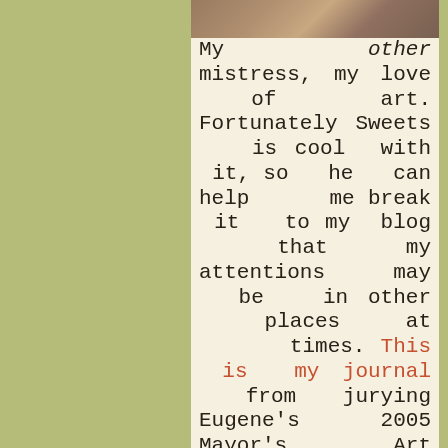[Figure (photo): Partial photo of artwork or art supplies at the top of the column]
My other mistress, my love of art. Fortunately Sweets is cool with it, so he can help me break it to my blog that my attentions may be in other places at times. This is my journal from jurying Eugene's 2005 Mayor's Art Show.